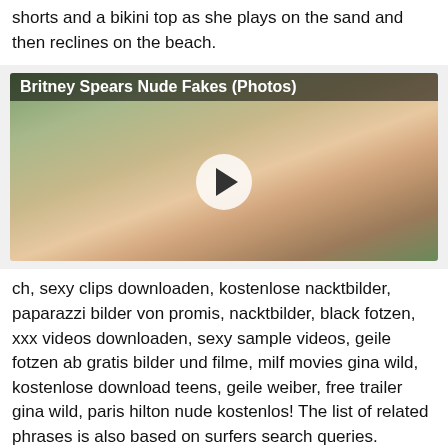shorts and a bikini top as she plays on the sand and then reclines on the beach.
[Figure (photo): Photo thumbnail with overlay label 'Britney Spears Nude Fakes (Photos)' and a play button in the center.]
ch, sexy clips downloaden, kostenlose nacktbilder, paparazzi bilder von promis, nacktbilder, black fotzen, xxx videos downloaden, sexy sample videos, geile fotzen ab gratis bilder und filme, milf movies gina wild, kostenlose download teens, geile weiber, free trailer gina wild, paris hilton nude kostenlos! The list of related phrases is also based on surfers search queries.